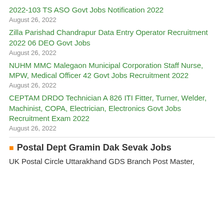2022-103 TS ASO Govt Jobs Notification 2022
August 26, 2022
Zilla Parishad Chandrapur Data Entry Operator Recruitment 2022 06 DEO Govt Jobs
August 26, 2022
NUHM MMC Malegaon Municipal Corporation Staff Nurse, MPW, Medical Officer 42 Govt Jobs Recruitment 2022
August 26, 2022
CEPTAM DRDO Technician A 826 ITI Fitter, Turner, Welder, Machinist, COPA, Electrician, Electronics Govt Jobs Recruitment Exam 2022
August 26, 2022
Postal Dept Gramin Dak Sevak Jobs
UK Postal Circle Uttarakhand GDS Branch Post Master,